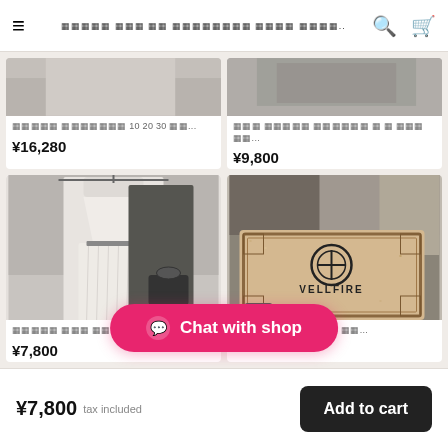≡  [scrambled text]  🔍  🛒
[Figure (photo): Product card top-left: clothing item, partial image visible at top]
[scrambled product title] 10 20 30 [scrambled]...
¥16,280
[Figure (photo): Product card top-right: partial product image visible at top]
[scrambled product title] [scrambled] [scrambled]...
¥9,800
[Figure (photo): Product card bottom-left: white and dark pleated dress on hangers]
[scrambled] [scrambled] [scrambled] [scrambled]...
¥7,800
[Figure (photo): Product card bottom-right: VELLFIRE branded car mat with ornate border]
[scrambled] 10 20 30 [scrambled]...
Chat with shop
¥7,800  tax included    Add to cart